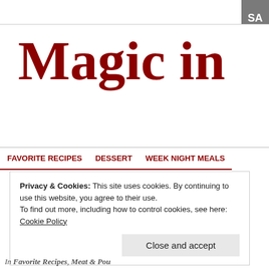[Figure (screenshot): Gray button/tab in top right corner with partial text 'SA']
Magic in
FAVORITE RECIPES   DESSERT   WEEK NIGHT MEALS
Privacy & Cookies: This site uses cookies. By continuing to use this website, you agree to their use.
To find out more, including how to control cookies, see here: Cookie Policy
Close and accept
In Favorite Recipes, Meat & Pou